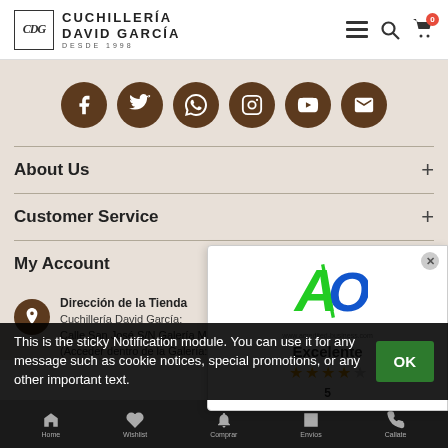[Figure (logo): Cuchillería David García logo with CDG monogram in a box and text CUCHILLERÍA DAVID GARCÍA DESDE 1998]
[Figure (infographic): Six brown circular social media icons: Facebook, Twitter, WhatsApp, Instagram, YouTube, Email]
About Us
Customer Service
My Account
Dirección de la Tienda
Cuchillería David García:
Calle San José S/N Galería Mayesi
(Acceder dentro de la Galería: estamos situ…
[Figure (logo): Acredited Business logo with green and blue A/O design and www.acredited-business.com text. Shows Excelente rating with 4 stars and number 5.]
This is the sticky Notification module. You can use it for any message such as cookie notices, special promotions, or any other important text.
Home   Wishlist   Comprar   Envíos   Callate